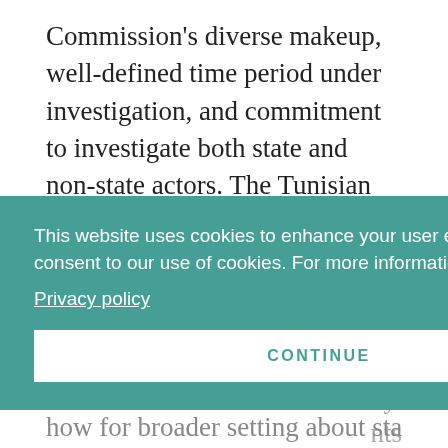Commission's diverse makeup, well-defined time period under investigation, and commitment to investigate both state and non-state actors. The Tunisian mandate enumerates provisions for a commission representative of Tunisia's different ethnicities, professions, and
[Figure (screenshot): Cookie consent banner overlay with teal background. Text: 'This website uses cookies to enhance your user experience. By using the website, you consent to our use of cookies. For more information, please review our Privacy policy'. Button: 'CONTINUE']
rity. nts